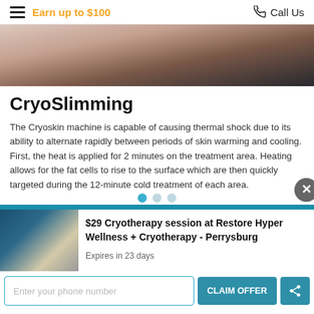Earn up to $100 | Call Us
[Figure (photo): Close-up of hands on a white surface, likely a medical/spa treatment context]
CryoSlimming
The Cryoskin machine is capable of causing thermal shock due to its ability to alternate rapidly between periods of skin warming and cooling. First, the heat is applied for 2 minutes on the treatment area. Heating allows for the fat cells to rise to the surface which are then quickly targeted during the 12-minute cold treatment of each area.
[Figure (photo): Advertisement image for $29 Cryotherapy session at Restore Hyper Wellness + Cryotherapy - Perrysburg, showing a person in a cryo chamber]
$29 Cryotherapy session at Restore Hyper Wellness + Cryotherapy - Perrysburg
Expires in 23 days
Enter your phone number
CLAIM OFFER
I agree to Terms
5 ★ (86)